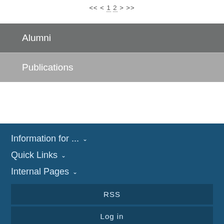<< < 1 2 > >>
Alumni
Publications
Information for ...
Quick Links
Internal Pages
RSS
Log in